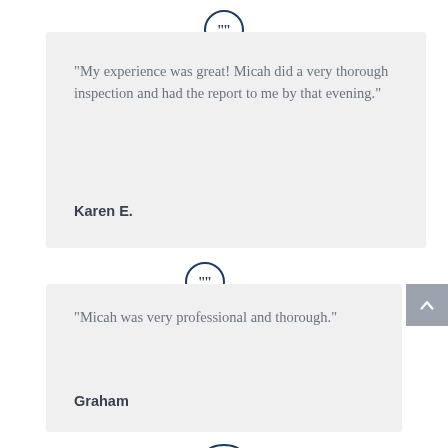“My experience was great! Micah did a very thorough inspection and had the report to me by that evening.”
Karen E.
“Micah was very professional and thorough.”
Graham